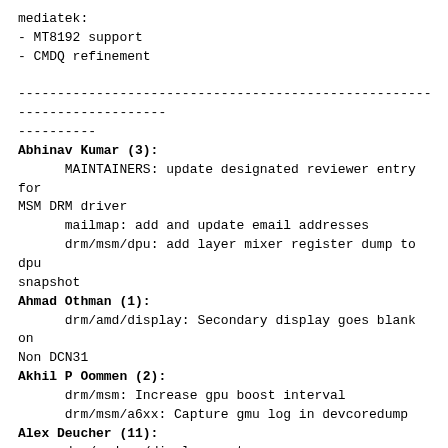mediatek:
- MT8192 support
- CMDQ refinement
------------------------------------------------------------------------
----------
Abhinav Kumar (3):
      MAINTAINERS: update designated reviewer entry for
MSM DRM driver
      mailmap: add and update email addresses
      drm/msm/dpu: add layer mixer register dump to dpu
snapshot
Ahmad Othman (1):
      drm/amd/display: Secondary display goes blank on
Non DCN31
Akhil P Oommen (2):
      drm/msm: Increase gpu boost interval
      drm/msm/a6xx: Capture gmu log in devcoredump
Alex Deucher (11):
      drm/amdgpu/display: set vblank_disable_immediate
for DC
      drm/amdgpu/gfx10: add wraparound gpu counter
check for APUs as well
      drm/amdgpu/gfx9: switch to golden tsc registers
for renoir+
      drm/amdgpu/pm: fix powerplay OD interface